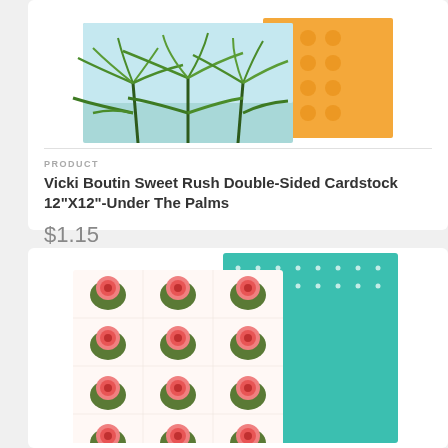[Figure (photo): Product image of Vicki Boutin Sweet Rush Double-Sided Cardstock showing palm leaf design on teal background with orange patterned backing]
PRODUCT
Vicki Boutin Sweet Rush Double-Sided Cardstock 12"X12"-Under The Palms
$1.15
[Figure (photo): Product image of double-sided cardstock showing pink floral/peony pattern on white with teal dotted backing]